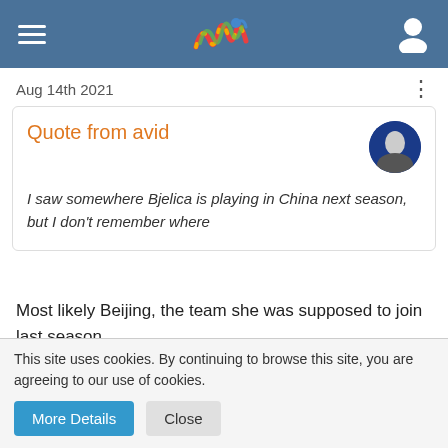Navigation header with hamburger menu, logo, and user icon
Aug 14th 2021
Quote from avid
I saw somewhere Bjelica is playing in China next season, but I don't remember where
Most likely Beijing, the team she was supposed to join last season.
fire_cai_bin
Enlightened
This site uses cookies. By continuing to browse this site, you are agreeing to our use of cookies.